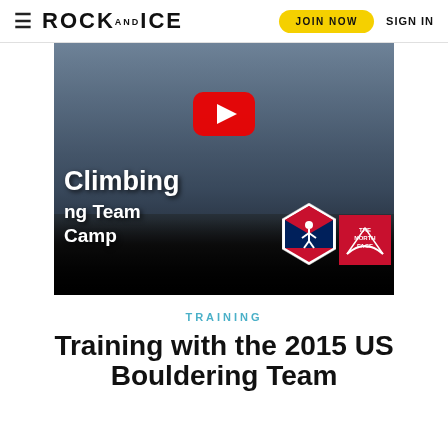≡ ROCK AND ICE | JOIN NOW | SIGN IN
[Figure (screenshot): YouTube video thumbnail showing a group of young climbers with text 'Climbing / ng Team / Camp' and logos for USA Climbing and The North Face, with a red YouTube play button overlay]
TRAINING
Training with the 2015 US Bouldering Team